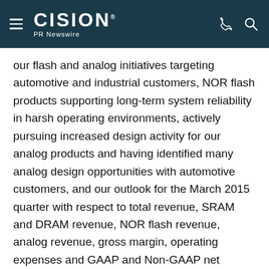CISION PR Newswire
our flash and analog initiatives targeting automotive and industrial customers, NOR flash products supporting long-term system reliability in harsh operating environments, actively pursuing increased design activity for our analog products and having identified many analog design opportunities with automotive customers, and our outlook for the March 2015 quarter with respect to total revenue, SRAM and DRAM revenue, NOR flash revenue, analog revenue, gross margin, operating expenses and GAAP and Non-GAAP net income per share are forward-looking statements that involve risks and uncertainties that could cause actual results to differ materially from those anticipated. Such risks and uncertainties